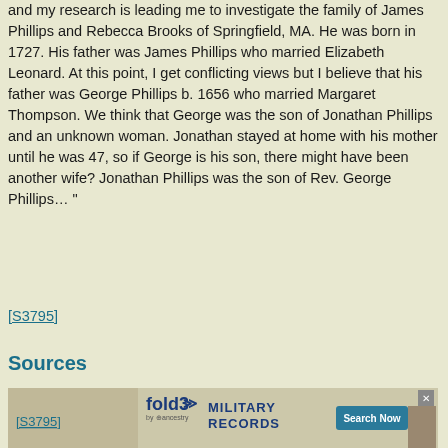and my research is leading me to investigate the family of James Phillips and Rebecca Brooks of Springfield, MA. He was born in 1727. His father was James Phillips who married Elizabeth Leonard. At this point, I get conflicting views but I believe that his father was George Phillips b. 1656 who married Margaret Thompson. We think that George was the son of Jonathan Phillips and an unknown woman. Jonathan stayed at home with his mother until he was 47, so if George is his son, there might have been another wife? Jonathan Phillips was the son of Rev. George Phillips… "
[S3795]
Sources
[S3795]
[Figure (other): fold3 by Ancestry advertisement banner for Military Records with Search Now button and close X button]